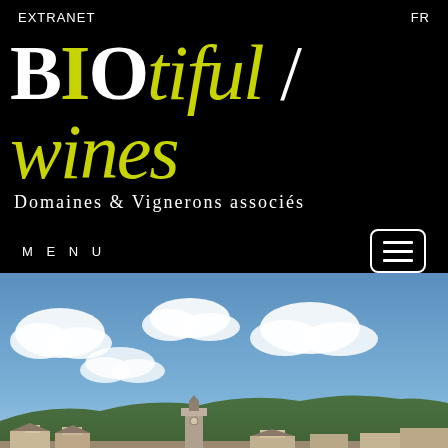EXTRANET    FR
BIOtiful wines - Domaines & Vignerons associés
MENU
[Figure (photo): Landscape photo of a French village with a church tower and rolling hills under a blue sky with white clouds]